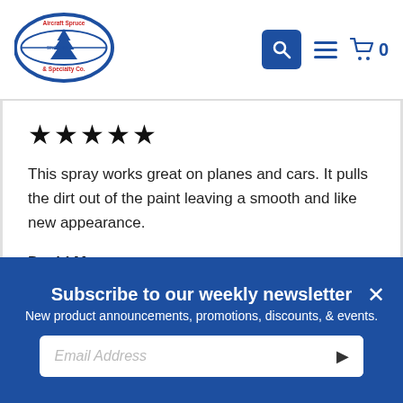[Figure (logo): Aircraft Spruce & Specialty Co. logo with blue circular emblem, since 1965]
[Figure (other): Search icon button (blue square with magnifying glass), hamburger menu icon, and shopping cart icon with 0 items in the header]
★★★★★
This spray works great on planes and cars. It pulls the dirt out of the paint leaving a smooth and like new appearance.
David M
August 30, 2019
Subscribe to our weekly newsletter
New product announcements, promotions, discounts, & events.
Email Address